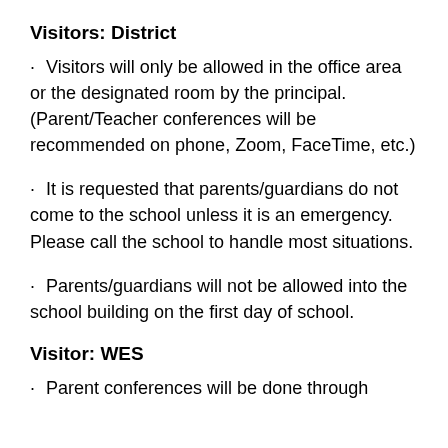Visitors: District
Visitors will only be allowed in the office area or the designated room by the principal. (Parent/Teacher conferences will be recommended on phone, Zoom, FaceTime, etc.)
It is requested that parents/guardians do not come to the school unless it is an emergency. Please call the school to handle most situations.
Parents/guardians will not be allowed into the school building on the first day of school.
Visitor: WES
Parent conferences will be done through